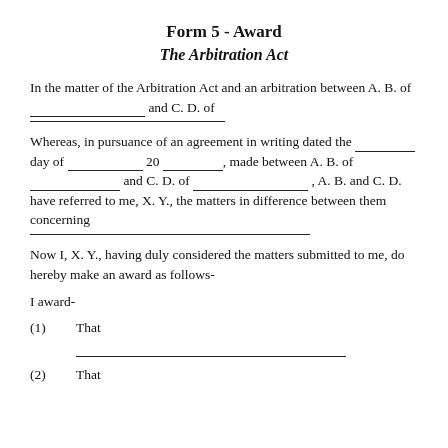Form 5 - Award
The Arbitration Act
In the matter of the Arbitration Act and an arbitration between A. B. of __________________ and C. D. of ________________________
Whereas, in pursuance of an agreement in writing dated the ________ day of ____________ 20 __________, made between A. B. of ______________ and C. D. of __________________ , A. B. and C. D. have referred to me, X. Y., the matters in difference between them concerning ________________________________
Now I, X. Y., having duly considered the matters submitted to me, do hereby make an award as follows-
I award-
(1)	That
(2)	That